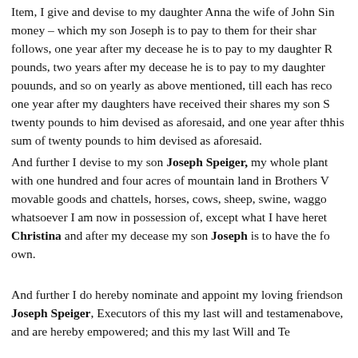Item, I give and devise to my daughter Anna the wife of John S... in money – which my son Joseph is to pay to them for their shar... follows, one year after my decease he is to pay to my daughter R... pounds, two years after my decease he is to pay to my daughter... pouunds, and so on yearly as above mentioned, till each has reco... one year after my daughters have received their shares my son S... twenty pounds to him devised as aforesaid, and one year after th... his sum of twenty pounds to him devised as aforesaid.
And further I devise to my son Joseph Speiger, my whole plant... with one hundred and four acres of mountain land in Brothers V... movable goods and chattels, horses, cows, sheep, swine, waggo... whatsoever I am now in possession of, except what I have heret... Christina and after my decease my son Joseph is to have the fo... own.
And further I do hereby nominate and appoint my loving friend... son Joseph Speiger, Executors of this my last will and testamen... above, and are hereby empowered; and this my last Will and Te...